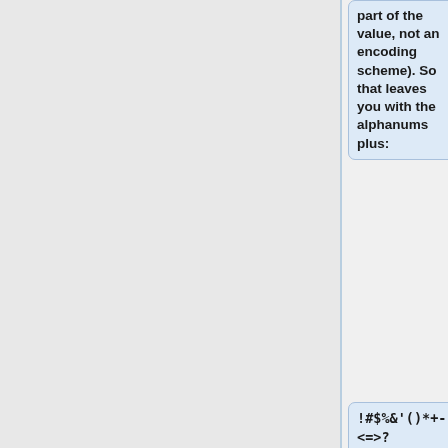part of the value, not an encoding scheme). So that leaves you with the alphanums plus:
!#$%&'()*+-./:<=>?@[]^_`{|}~
In the real world we are still using the original-and-worst Netscape cookie_spec, so code that consumes cookies should be prepared to encounter